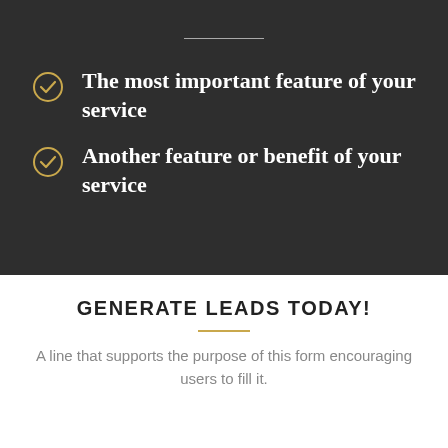The most important feature of your service
Another feature or benefit of your service
GENERATE LEADS TODAY!
A line that supports the purpose of this form encouraging users to fill it.